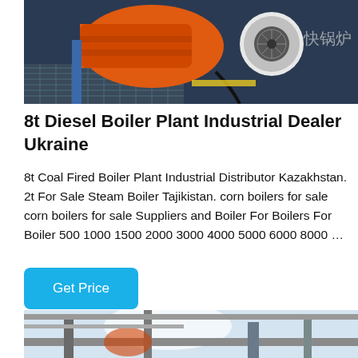[Figure (photo): Industrial orange diesel boiler burner with motor/fan unit mounted on dark blue metal casing, with Chinese characters visible on the right side]
8t Diesel Boiler Plant Industrial Dealer Ukraine
8t Coal Fired Boiler Plant Industrial Distributor Kazakhstan. 2t For Sale Steam Boiler Tajikistan. corn boilers for sale corn boilers for sale Suppliers and Boiler For Boilers For Boiler 500 1000 1500 2000 3000 4000 5000 6000 8000 …
[Figure (photo): Industrial boiler room with pipes, machinery and bright lighting visible at bottom of page]